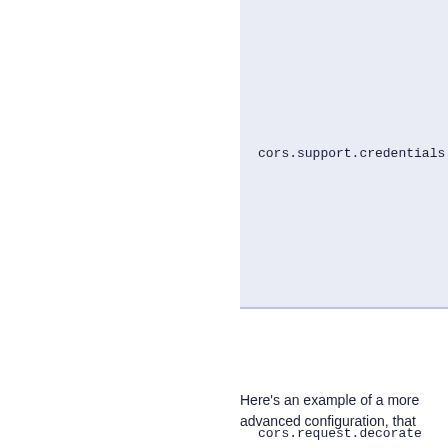| Property |
| --- |
| cors.support.credentials |
| cors.request.decorate |
Here's an example of a more advanced configuration, that